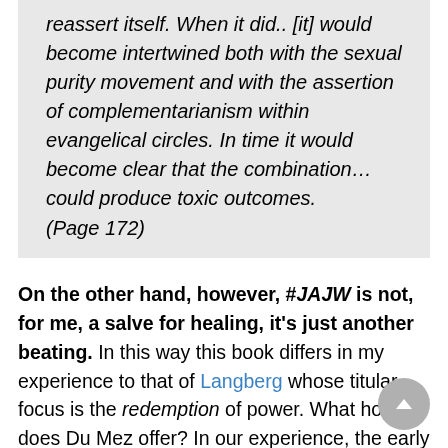reassert itself. When it did.. [it] would become intertwined both with the sexual purity movement and with the assertion of complementarianism within evangelical circles. In time it would become clear that the combination… could produce toxic outcomes.
(Page 172)
On the other hand, however, #JAJW is not, for me, a salve for healing, it's just another beating. In this way this book differs in my experience to that of Langberg whose titular focus is the redemption of power. What hope does Du Mez offer? In our experience, the early 2000's